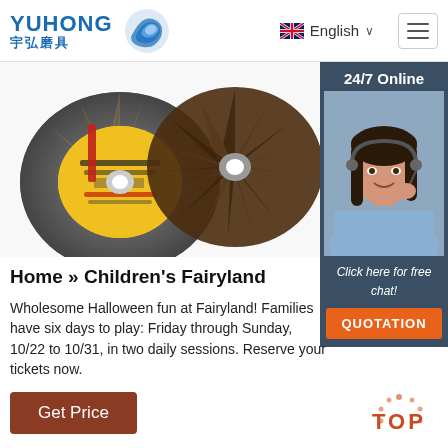YUHONG 宇弘磨具 | English | Menu
[Figure (photo): Product photo showing abrasive flap discs — one with yellow label and one dark brown — on white background]
[Figure (photo): 24/7 Online customer service agent — woman with headset smiling]
Click here for free chat!
QUOTATION
Home » Children's Fairyland
Wholesome Halloween fun at Fairyland! Families have six days to play: Friday through Sunday, 10/22 to 10/31, in two daily sessions. Reserve your tickets now.
Get Price